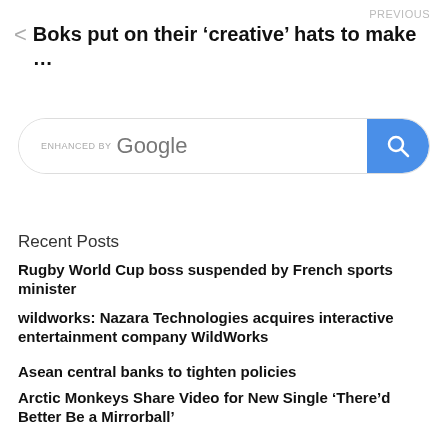PREVIOUS
Boks put on their ‘creative’ hats to make …
[Figure (other): Google search bar with magnifying glass button]
Recent Posts
Rugby World Cup boss suspended by French sports minister
wildworks: Nazara Technologies acquires interactive entertainment company WildWorks
Asean central banks to tighten policies
Arctic Monkeys Share Video for New Single ‘There’d Better Be a Mirrorball’
Nicholas Goldberg: Remember when we thought George W. Bush was the worst president ever?